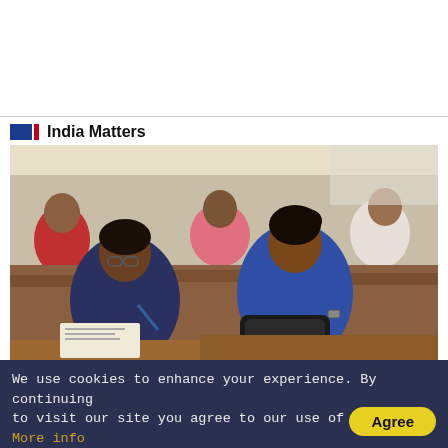India Matters
[Figure (photo): Classroom scene showing students, primarily young women, sitting at wooden desks writing and studying. Two female students in the foreground, one wearing glasses and a dark floral top, another in a blue top with a watch. More students visible in the background.]
The sadness of the university today
We use cookies to enhance your experience. By continuing to visit our site you agree to our use of cookies. More info